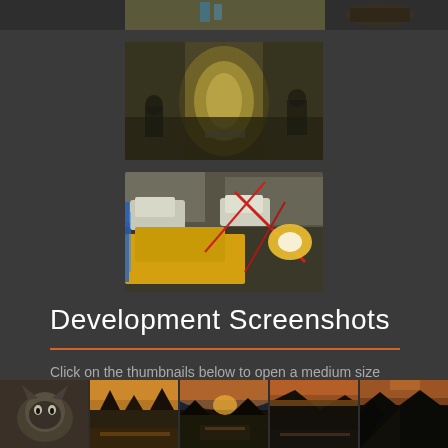[Figure (screenshot): Partial top strip of game screenshots visible at very top of page]
[Figure (screenshot): Game screenshot showing a dark indoor/tunnel scene with yellowish lighting, military/shooter game]
[Figure (screenshot): Game screenshot showing outdoor action scene with yellow car, red effects, muzzle flash — shooter game]
Development Screenshots
Click on the thumbnails below to open a medium size image. WARNING: The screenshots may contain spoilers.
[Figure (screenshot): Row of 5 thumbnail screenshots at bottom of page showing various game scenes including a cat, landscape/nature scenes, and outdoor environments]